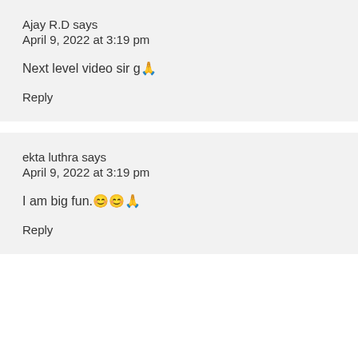Ajay R.D says
April 9, 2022 at 3:19 pm
Next level video sir g🙏
Reply
ekta luthra says
April 9, 2022 at 3:19 pm
I am big fun.😊😊🙏
Reply